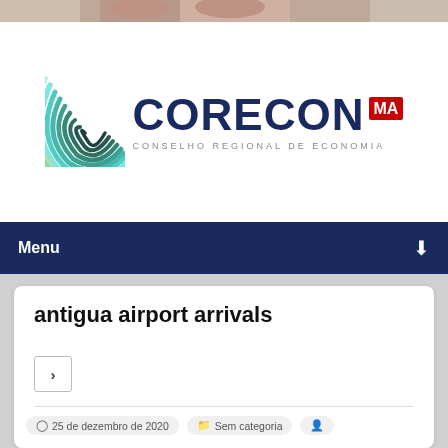[Figure (photo): Top strip showing partial photo of people]
[Figure (logo): CORECON-MA logo with spiral graphic and text 'CONSELHO REGIONAL DE ECONOMIA']
Menu
antigua airport arrivals
>
25 de dezembro de 2020   Sem categoria